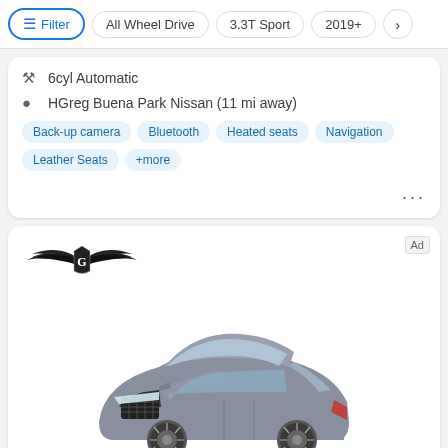Filter | All Wheel Drive | 3.3T Sport | 2019+
6cyl Automatic
HGreg Buena Park Nissan (11 mi away)
Back-up camera
Bluetooth
Heated seats
Navigation
Leather Seats
+more
[Figure (logo): Genesis brand winged logo]
[Figure (photo): Gray Genesis luxury sedan, front three-quarter view on white background]